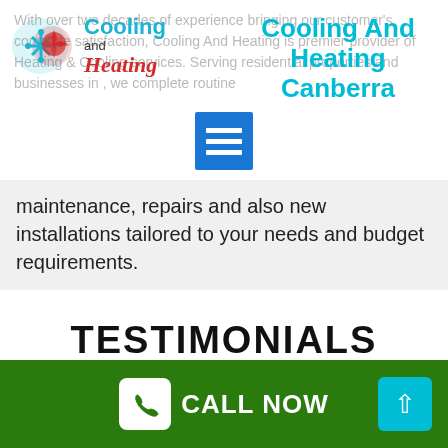[Figure (logo): Cooling and Heating company logo with snowflake/sun icon in blue and red, text 'Cooling and Heating' in blue and red italic]
Cooling And Heating Canberra
With over two decades of experience bringing our customer's complete satisfaction, Cooling And Heating is premier provider of Heating & Cooling services. Serving residential properties and businesses in , we complete routine maintenance, repairs and also new installations tailored to your needs and budget requirements.
TESTIMONIALS
[Figure (other): Empty testimonial card outline]
CALL NOW